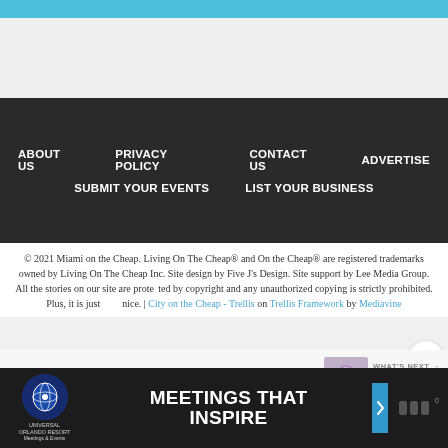ABOUT US
PRIVACY POLICY
CONTACT US
ADVERTISE
SUBMIT YOUR EVENTS
LIST YOUR BUSINESS
© 2021 Miami on the Cheap. Living On The Cheap® and On the Cheap® are registered trademarks owned by Living On The Cheap Inc. Site design by Five J's Design. Site support by Lee Media Group. All the stories on our site are protected by copyright and any unauthorized copying is strictly prohibited. Plus, it is just nice. | City on the Cheap - Trellis on Trellis Framework by Mediavine
Exclusive Member of Mediavine Travel
WHAT'S NEXT → FREE Dance Peformance...
[Figure (screenshot): Advertisement bar: Universal Orlando Resort Meetings & Events logo on the left, large text 'MEETINGS THAT INSPIRE' in the center, blue arrow bar, and audio/mute icon on the right.]